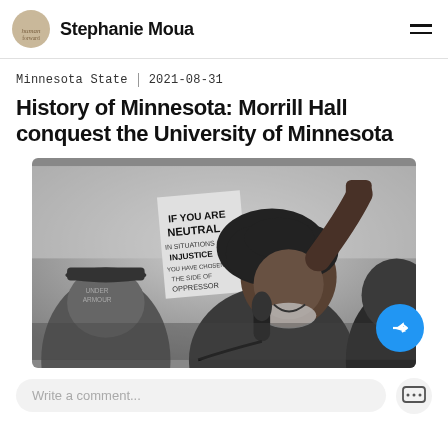Stephanie Moua
Minnesota State  |  2021-08-31
History of Minnesota: Morrill Hall conquest the University of Minnesota
[Figure (photo): Black and white photo of a woman with curly hair speaking into a microphone with her fist raised; in the background a sign reading IF YOU ARE NEUTRAL IN SITUATIONS OF INJUSTICE and other protesters]
Write a comment...